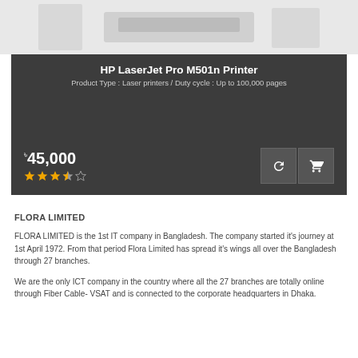[Figure (photo): Top portion of a product image showing what appears to be an HP LaserJet Pro printer, cropped at the top of the page]
HP LaserJet Pro M501n Printer
Product Type : Laser printers / Duty cycle : Up to 100,000 pages
৳ 45,000
[Figure (other): Star rating: approximately 3.5 out of 5 stars]
FLORA LIMITED
FLORA LIMITED is the 1st IT company in Bangladesh. The company started it's journey at 1st April 1972. From that period Flora Limited has spread it's wings all over the Bangladesh through 27 branches.
We are the only ICT company in the country where all the 27 branches are totally online through Fiber Cable- VSAT and is connected to the corporate headquarters in Dhaka.